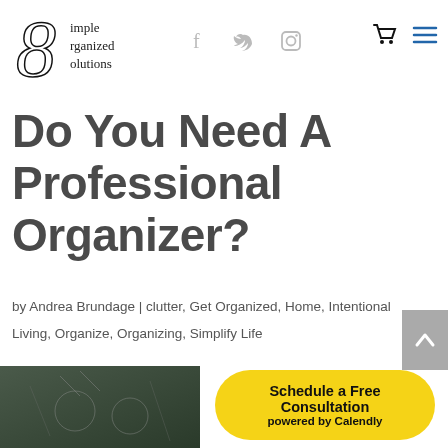[Figure (logo): Simple Organized Solutions logo — stylized 8-shaped swirl with text 'imple rganized olutions' beside it]
[Figure (infographic): Social media icons: Facebook (f), Twitter bird, Instagram camera outline in gray]
[Figure (infographic): Navigation icons: shopping cart and hamburger menu in black/dark blue]
Do You Need A Professional Organizer?
by Andrea Brundage | clutter, Get Organized, Home, Intentional Living, Organize, Organizing, Simplify Life
[Figure (photo): Partial photo showing people or a scene with dark green/chalkboard-type background]
Schedule a Free Consultation
powered by Calendly